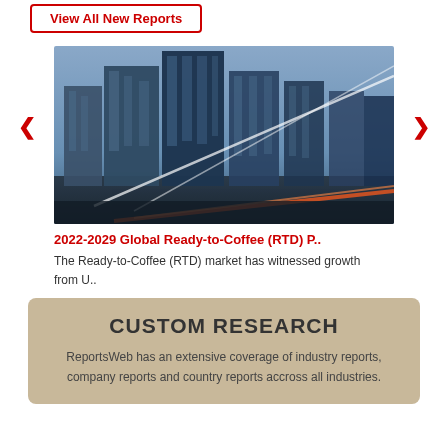View All New Reports
[Figure (photo): City skyline with tall glass skyscrapers and light trails from traffic at night, with a blue-toned color treatment]
‹
›
2022-2029 Global Ready-to-Coffee (RTD) P..
The Ready-to-Coffee (RTD) market has witnessed growth from U..
CUSTOM RESEARCH
ReportsWeb has an extensive coverage of industry reports, company reports and country reports accross all industries.